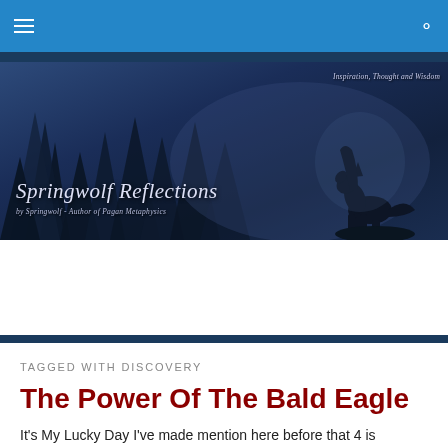Springwolf Reflections – Navigation bar with hamburger menu and search icon
[Figure (illustration): Website banner image showing a wolf silhouette howling against a dark blue mystical forest background. Text reads 'Springwolf Reflections' in italic script with subtitle 'by Springwolf - Author of Pagan Metaphysics' and tagline 'Inspiration, Thought and Wisdom'.]
TAGGED WITH DISCOVERY
The Power Of The Bald Eagle
It's My Lucky Day I've made mention here before that 4 is